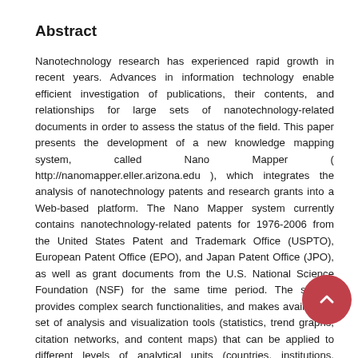Abstract
Nanotechnology research has experienced rapid growth in recent years. Advances in information technology enable efficient investigation of publications, their contents, and relationships for large sets of nanotechnology-related documents in order to assess the status of the field. This paper presents the development of a new knowledge mapping system, called Nano Mapper ( http://nanomapper.eller.arizona.edu ), which integrates the analysis of nanotechnology patents and research grants into a Web-based platform. The Nano Mapper system currently contains nanotechnology-related patents for 1976-2006 from the United States Patent and Trademark Office (USPTO), European Patent Office (EPO), and Japan Patent Office (JPO), as well as grant documents from the U.S. National Science Foundation (NSF) for the same time period. The system provides complex search functionalities, and makes available a set of analysis and visualization tools (statistics, trend graphs, citation networks, and content maps) that can be applied to different levels of analytical units (countries, institutions, technical fields) and for different time intervals. The paper shows